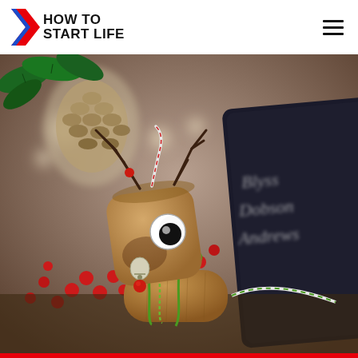HOW TO START LIFE
[Figure (photo): A Christmas-themed photo showing a reindeer figurine made from wine corks, with googly eyes, twig antlers, and a red bead nose, decorated with green ribbon. In the background are red berries, bokeh lights, a pine cone, holly leaves, and a dark notebook. The scene is festive and holiday-crafted.]